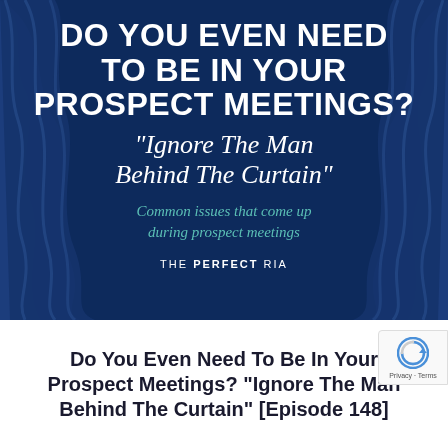[Figure (illustration): Dark blue background with illustrated theater curtains on left and right sides, creating a stage-like framing effect.]
DO YOU EVEN NEED TO BE IN YOUR PROSPECT MEETINGS?
“Ignore The Man Behind The Curtain”
Common issues that come up during prospect meetings
THE PERFECT RIA
Do You Even Need To Be In Your Prospect Meetings? “Ignore The Man Behind The Curtain” [Episode 148]
[Figure (logo): reCAPTCHA badge with circular arrow icon and Privacy · Terms text]